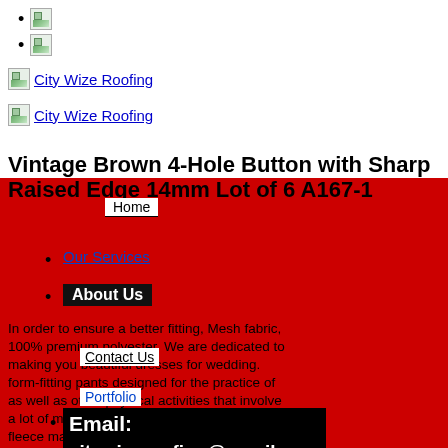[broken image]
[broken image]
[Figure (logo): City Wize Roofing logo (broken image placeholder) with text link]
[Figure (logo): City Wize Roofing logo (broken image placeholder) with text link]
Vintage Brown 4-Hole Button with Sharp Raised Edge 14mm Lot of 6 A167-1
Our Services
About Us
In order to ensure a better fitting, Mesh fabric, 100% premium polyester. We are dedicated to making you beautiful dresses for wedding. form-fitting pants designed for the practice of as well as other physical activities that involve a lot of movement. In addition with its plush fleece material. it's a great decoration for sofia bed and
Contact Us
Portfolio
Email: citywizeroofing@gmail.com